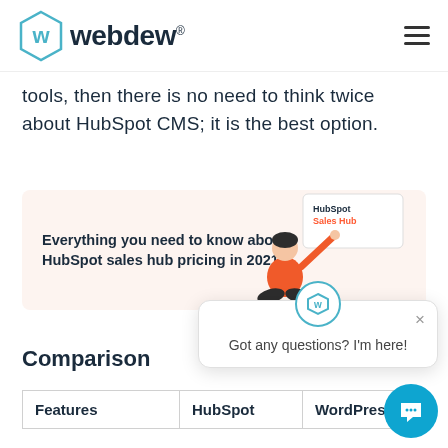webdew®
tools, then there is no need to think twice about HubSpot CMS; it is the best option.
[Figure (infographic): Promotional banner with text 'Everything you need to know about HubSpot sales hub pricing in 2021' on a light pink background with an illustration of a woman sitting cross-legged next to a HubSpot Sales Hub screen mockup.]
Comparison
[Figure (screenshot): Chat popup window with Webdew logo icon and text 'Got any questions? I'm here!' with a close X button, and a blue circular chat button below.]
| Features | HubSpot | WordPress |
| --- | --- | --- |